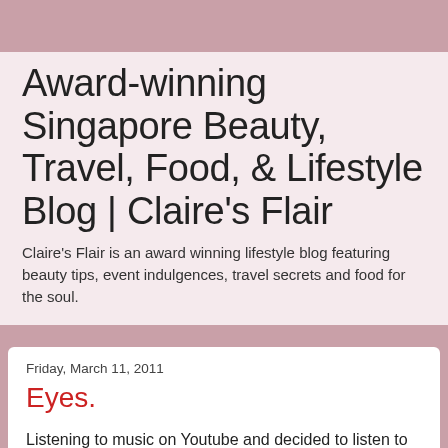Award-winning Singapore Beauty, Travel, Food, & Lifestyle Blog | Claire's Flair
Claire's Flair is an award winning lifestyle blog featuring beauty tips, event indulgences, travel secrets and food for the soul.
Friday, March 11, 2011
Eyes.
Listening to music on Youtube and decided to listen to Westlife. Ah, good old times.
I remember my tuition kid asking me for song recommendations. I told her to listen to Backstreet Boys and Westlife and she replied "Huh who are they how come never